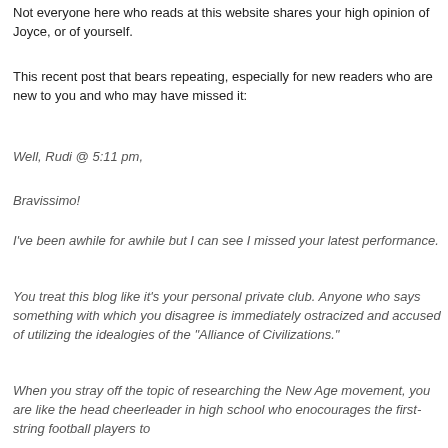Not everyone here who reads at this website shares your high opinion of Joyce, or of yourself.
This recent post that bears repeating, especially for new readers who are new to you and who may have missed it:
Well, Rudi @ 5:11 pm,
Bravissimo!
I've been awhile for awhile but I can see I missed your latest performance.
You treat this blog like it's your personal private club. Anyone who says something with which you disagree is immediately ostracized and accused of utilizing the idealogies of the "Alliance of Civilizations."
When you stray off the topic of researching the New Age movement, you are like the head cheerleader in high school who enocourages the first-string football players to